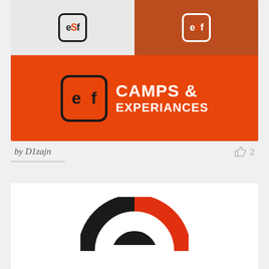[Figure (logo): eSf Camps & Experiances logo design submission showing three variations: top-left on grey background, top-right on dark orange/brown background, and center on bright orange background with full text 'CAMPS & EXPERIANCES']
by D1zajn
2
[Figure (logo): Partial view of another logo design at bottom of page, showing a circular design in black and red/orange colors, partially cropped]